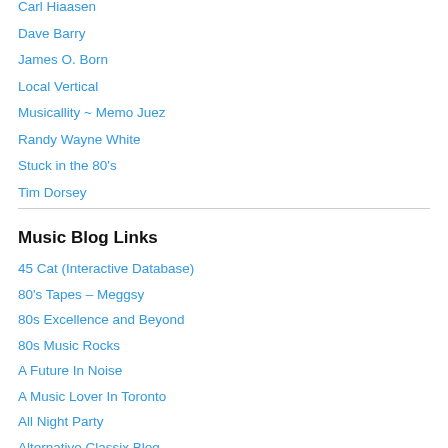Carl Hiaasen
Dave Barry
James O. Born
Local Vertical
Musicallity ~ Memo Juez
Randy Wayne White
Stuck in the 80's
Tim Dorsey
Music Blog Links
45 Cat (Interactive Database)
80's Tapes – Meggsy
80s Excellence and Beyond
80s Music Rocks
A Future In Noise
A Music Lover In Toronto
All Night Party
Alternative Classix Blog